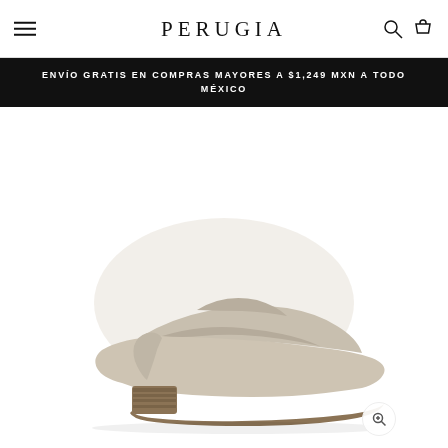PERUGIA
ENVÍO GRATIS EN COMPRAS MAYORES A $1,249 MXN A TODO MÉXICO
[Figure (photo): A beige/cream leather backless mule loafer shoe with a low stacked heel, shown in profile view against a white background.]